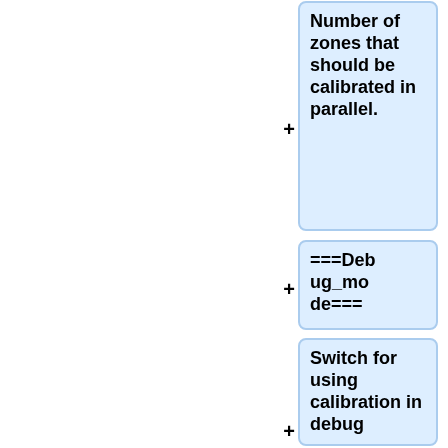Number of zones that should be calibrated in parallel.
===Debug_mode===
Switch for using calibration in debug